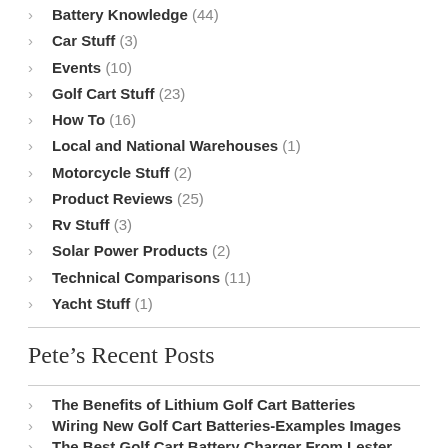Battery Knowledge (44)
Car Stuff (3)
Events (10)
Golf Cart Stuff (23)
How To (16)
Local and National Warehouses (1)
Motorcycle Stuff (2)
Product Reviews (25)
Rv Stuff (3)
Solar Power Products (2)
Technical Comparisons (11)
Yacht Stuff (1)
Pete’s Recent Posts
The Benefits of Lithium Golf Cart Batteries
Wiring New Golf Cart Batteries-Examples Images
The Best Golf Cart Battery Charger From Lester Electrical